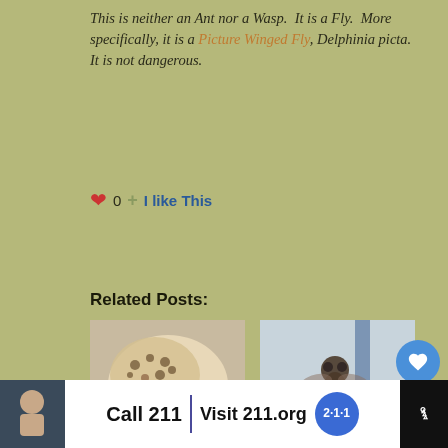This is neither an Ant nor a Wasp.  It is a Fly.  More specifically, it is a Picture Winged Fly, Delphinia picta.  It is not dangerous.
♥ 0  + I like This
Related Posts:
[Figure (photo): Photo of a Peacock Fly from Germany]
Peacock Fly from Germany
[Figure (photo): Photo of a Picture Winged Fly]
Picture Winged Fly
[Figure (infographic): UI floating action buttons: heart button and share button with count 1]
[Figure (infographic): What's Next panel showing Lawn Shrimp in Australia]
[Figure (photo): Partial third related post image at bottom]
[Figure (screenshot): Advertisement bar: Call 211 Visit 211.org with 2-1-1 badge logo]